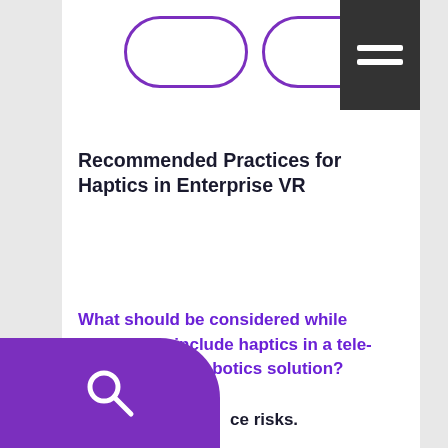[Figure (illustration): Two pill/capsule shapes outlined in purple, partially visible at top of page, with a hamburger menu icon (three horizontal lines) in a dark gray box at top right]
Recommended Practices for Haptics in Enterprise VR
What should be considered while planning to include haptics in a tele-existence/tele-robotics solution?
ce risks.